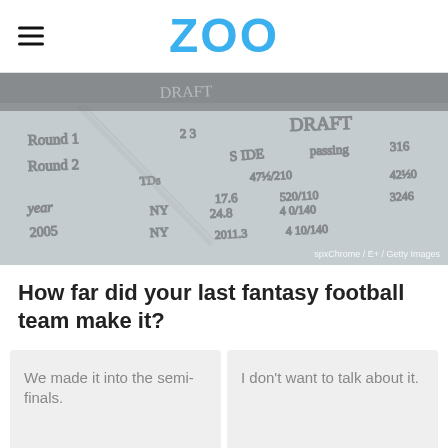ZOO
[Figure (photo): Blurred close-up of handwritten fantasy football draft notes showing round numbers, player stats (TDs, yards), team abbreviations, and years. Photo credit: spxChrome / E+ / Getty Images]
How far did your last fantasy football team make it?
We made it into the semi-finals.
I don't want to talk about it.
We took home the trophy!
I've never created one.